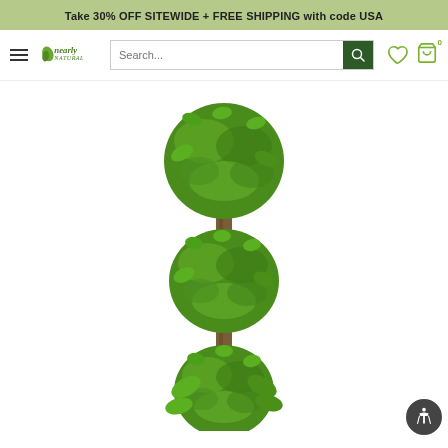Take 30% OFF SITEWIDE + FREE SHIPPING with code USA
[Figure (screenshot): Nearly Natural website navigation bar with hamburger menu, logo, search box, wishlist icon, and cart icon with 0 items]
[Figure (photo): Artificial triple-ball topiary tree with green leaves arranged in three round pom-pom shapes on a single trunk, white background]